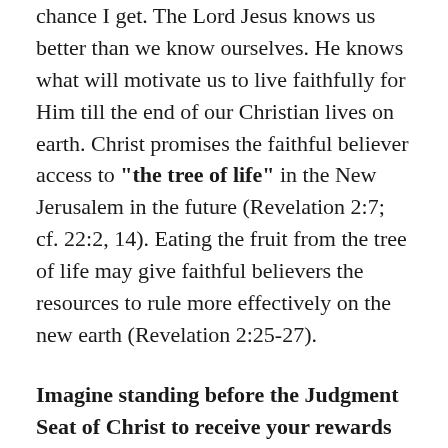chance I get. The Lord Jesus knows us better than we know ourselves. He knows what will motivate us to live faithfully for Him till the end of our Christian lives on earth. Christ promises the faithful believer access to "the tree of life" in the New Jerusalem in the future (Revelation 2:7; cf. 22:2, 14). Eating the fruit from the tree of life may give faithful believers the resources to rule more effectively on the new earth (Revelation 2:25-27).
Imagine standing before the Judgment Seat of Christ to receive your rewards from King Jesus (Romans 14:10-12; I Corinthians 3:8-15; 2 Corinthians 5:10). He tells you that because you were not faithful to Him till the end of your Christian life, you will forfeit certain rewards